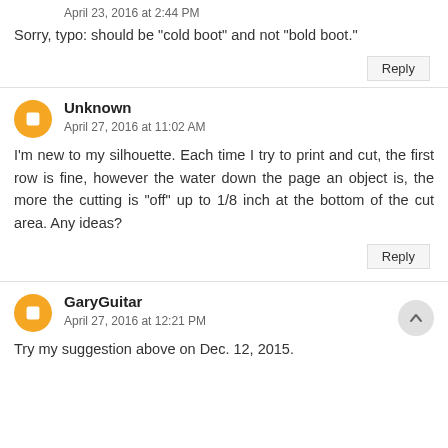April 23, 2016 at 2:44 PM
Sorry, typo: should be "cold boot" and not "bold boot."
Reply
Unknown
April 27, 2016 at 11:02 AM
I'm new to my silhouette. Each time I try to print and cut, the first row is fine, however the water down the page an object is, the more the cutting is "off" up to 1/8 inch at the bottom of the cut area. Any ideas?
Reply
GaryGuitar
April 27, 2016 at 12:21 PM
Try my suggestion above on Dec. 12, 2015.